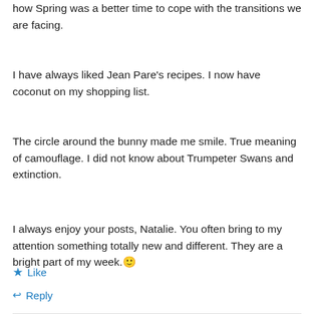how Spring was a better time to cope with the transitions we are facing.
I have always liked Jean Pare's recipes. I now have coconut on my shopping list.
The circle around the bunny made me smile. True meaning of camouflage. I did not know about Trumpeter Swans and extinction.
I always enjoy your posts, Natalie. You often bring to my attention something totally new and different. They are a bright part of my week. 🙂
★ Like
↩ Reply